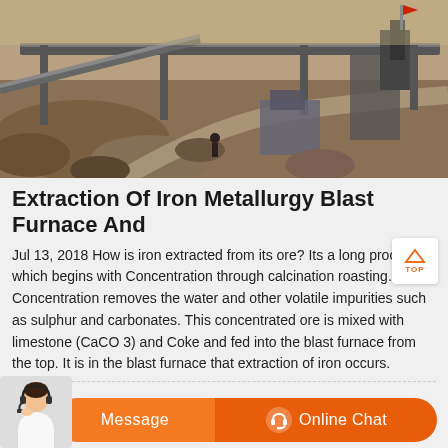[Figure (photo): Aerial view of a mining/quarry industrial site with conveyor belts, machinery, and rocky terrain]
Extraction Of Iron Metallurgy Blast Furnace And
Jul 13, 2018 How is iron extracted from its ore? Its a long process which begins with Concentration through calcination roasting. Concentration removes the water and other volatile impurities such as sulphur and carbonates. This concentrated ore is mixed with limestone (CaCO 3) and Coke and fed into the blast furnace from the top. It is in the blast furnace that extraction of iron occurs.
[Figure (photo): Customer service agent (woman with headset) and orange Message / Online Chat buttons at bottom of page]